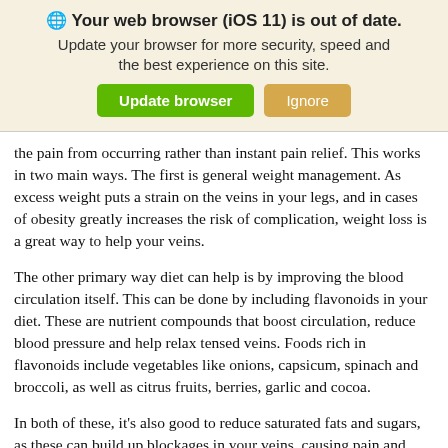[Figure (screenshot): Browser update banner with globe icon, bold title 'Your web browser (iOS 11) is out of date.', subtitle text, and two buttons: 'Update browser' (green) and 'Ignore' (tan/yellow)]
the pain from occurring rather than instant pain relief. This works in two main ways. The first is general weight management. As excess weight puts a strain on the veins in your legs, and in cases of obesity greatly increases the risk of complication, weight loss is a great way to help your veins.
The other primary way diet can help is by improving the blood circulation itself. This can be done by including flavonoids in your diet. These are nutrient compounds that boost circulation, reduce blood pressure and help relax tensed veins. Foods rich in flavonoids include vegetables like onions, capsicum, spinach and broccoli, as well as citrus fruits, berries, garlic and cocoa.
In both of these, it's also good to reduce saturated fats and sugars, as these can build up blockages in your veins, causing pain and potentially serious health issues.